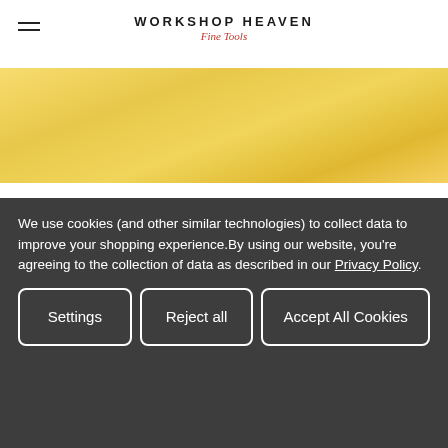WORKSHOP HEAVEN Fine Tools
[Figure (photo): Close-up of light wood grain texture, golden/blonde color]
Quantity:
1
Add to Cart
We use cookies (and other similar technologies) to collect data to improve your shopping experience.By using our website, you're agreeing to the collection of data as described in our Privacy Policy.
Settings
Reject all
Accept All Cookies